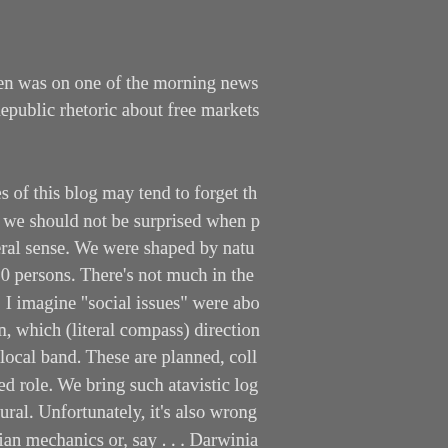Joe Biden was on one of the morning news shows talking about the crisis. Republic rhetoric about free markets... policy.
Devotees of this blog may tend to forget th... hard, so we should not be surprised when p... very literal sense. We were shaped by natu... 15 to 150 persons. There's not much in the... persons. I imagine "social issues" were abo... headman, which (literal compass) direction... another local band. These are planned, coll... privileged role. We bring such atavistic log... only natural. Unfortunately, it's also wrong... Newtonian mechanics or, say . . . Darwinia... to correct popular errors in scientific unde...
Posted by: Roger Koppl | September 17, 2008 at 01:13
I think there is a lot of confusion in people... regulated and subsidized economy with fre... the public's mind time and time again. And... more. And even if people are wise to gove... but to succumb?
Secondly, yes, habit. It is impossible to im... government because we simply haven't e...